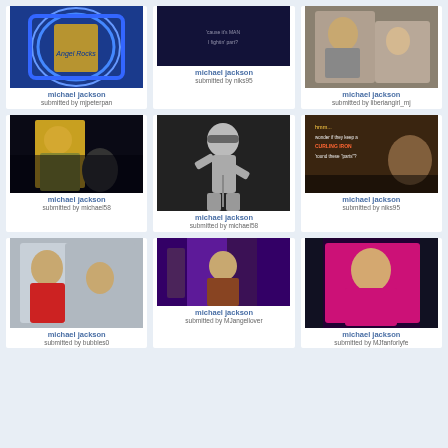[Figure (photo): Michael Jackson fan art/collage with blue heart design and gold outfit]
michael jackson
submitted by mjpeterpan
[Figure (photo): Dark concert/stage photo with text overlay 'cause it's MAN I fightin' part?']
michael jackson
submitted by niks95
[Figure (photo): Michael Jackson holding a child, wearing shiny jacket]
michael jackson
submitted by liberiangirl_mj
[Figure (photo): Michael Jackson performing on stage in yellow jacket with microphone]
michael jackson
submitted by michael58
[Figure (photo): Black and white photo of Michael Jackson standing at microphone]
michael jackson
submitted by michael58
[Figure (photo): Meme image with text 'wonder if they keep a CURLING IRON round these parts?']
michael jackson
submitted by niks95
[Figure (photo): Michael Jackson in red jacket waving, with another person behind]
michael jackson
submitted by bubbles0
[Figure (photo): Person at award ceremony or event with purple backdrop]
michael jackson
submitted by MJangellover
[Figure (photo): Michael Jackson in pink/fuchsia sweater seated]
michael jackson
submitted by MJfanforlyfe